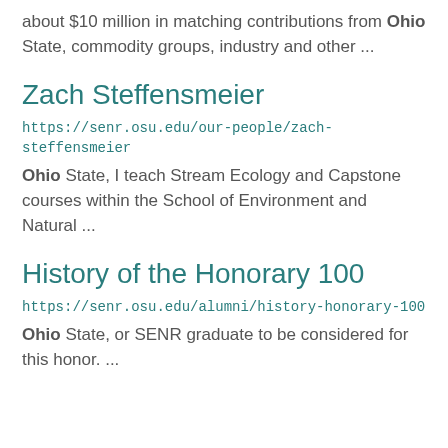about $10 million in matching contributions from Ohio State, commodity groups, industry and other ...
Zach Steffensmeier
https://senr.osu.edu/our-people/zach-steffensmeier
Ohio State, I teach Stream Ecology and Capstone courses within the School of Environment and Natural ...
History of the Honorary 100
https://senr.osu.edu/alumni/history-honorary-100
Ohio State, or SENR graduate to be considered for this honor. ...